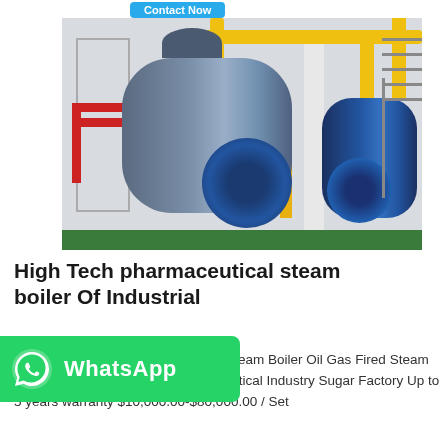[Figure (photo): Industrial steam boilers in a factory setting. Two large horizontal cylindrical boilers with blue burner assemblies are shown. Yellow pipes run across the top. Red pipes are visible on the left side. The facility has white columns, metal scaffolding/stairs, and green floor bases.]
High Tech pharmaceutical steam boiler Of Industrial
[Figure (logo): WhatsApp green banner with phone icon and 'WhatsApp' text in white]
armaceutical Steam Gas Fired Type Steam Boiler Oil Gas Fired Steam Boiler For Textile Industry Pharmaceutical Industry Sugar Factory Up to 5 years warranty $10,000.00-$80,000.00 / Set